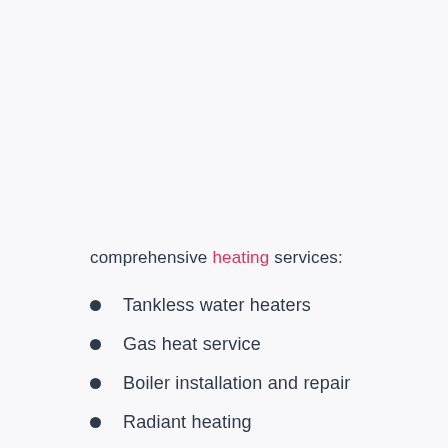comprehensive heating services:
Tankless water heaters
Gas heat service
Boiler installation and repair
Radiant heating
Oil to gas conversions